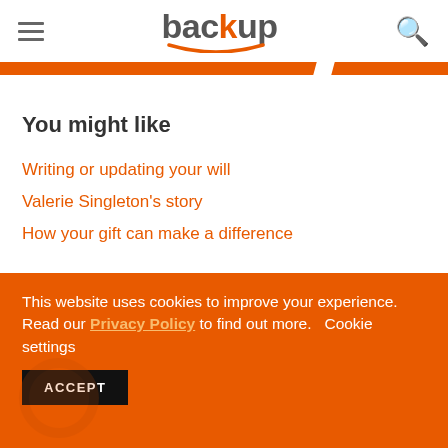back up (logo with hamburger menu and search icon)
You might like
Writing or updating your will
Valerie Singleton's story
How your gift can make a difference
This website uses cookies to improve your experience. Read our Privacy Policy to find out more. Cookie settings ACCEPT